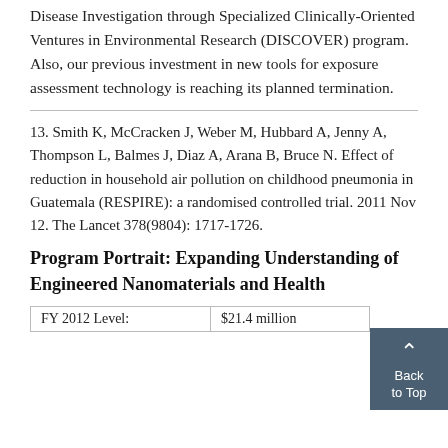Disease Investigation through Specialized Clinically-Oriented Ventures in Environmental Research (DISCOVER) program. Also, our previous investment in new tools for exposure assessment technology is reaching its planned termination.
13. Smith K, McCracken J, Weber M, Hubbard A, Jenny A, Thompson L, Balmes J, Diaz A, Arana B, Bruce N. Effect of reduction in household air pollution on childhood pneumonia in Guatemala (RESPIRE): a randomised controlled trial. 2011 Nov 12. The Lancet 378(9804): 1717-1726.
Program Portrait: Expanding Understanding of Engineered Nanomaterials and Health
| FY 2012 Level: | $21.4 million |
| --- | --- |